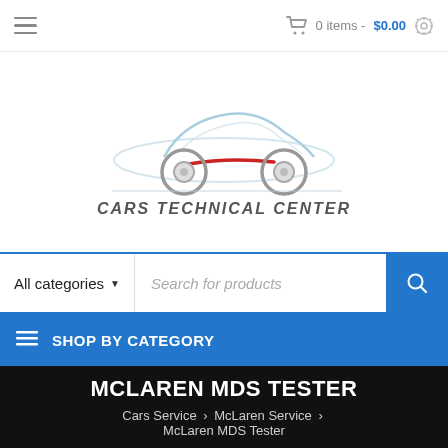0 items - $0.00
[Figure (logo): Cars Technical Center logo: stylized car silhouette in light blue with red accent stripe and grey wheels, with text CARS TECHNICAL CENTER below in dark grey italic font]
All categories   Search for products
SHOP BY CATEGORY
MCLAREN MDS TESTER
Cars Service › McLaren Service › McLaren MDS Tester